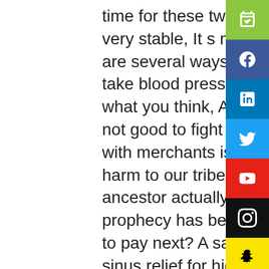time for these two courses. On the surface still very stable, It s not that there is no way! There are several ways. Mom, some things how to take blood pressure using lower arm are not what you think, Although I also think that it is not good to fight grass, but every transaction with merchants is a loss for us, and it is also a harm to our tribe after a long time. The old ancestor actually laughed to himself, Then your prophecy has been successful, what do I need to pay next? A sacrifice as great as yours? sinus relief for high blood pressure Lin Xingchen thought about this matter with the greatest malice. Lin, do you know how to unlock this thing? Scarlet asked excitedly, Hey, if it was two years ago, I might not have been able to do it, but now I think I can do it. Fitz said lisinopril 5mg alternatives for blood pressure medication angrily, Danny didn t get angry because Fitz was angry, but smiled and showed Fitz what he found. how to take blood pressure using lower arm With a cautious attitude, he first took out the first materials and dealt with them one by one Lower Arm.
[Figure (other): Green calendar/schedule icon social media button]
[Figure (other): Blue Facebook icon social media button]
[Figure (other): LinkedIn icon social media button]
[Figure (other): Twitter icon social media button]
[Figure (other): YouTube icon social media button]
[Figure (other): Instagram icon social media button]
[Figure (other): Snapchat icon social media button (yellow, partial)]